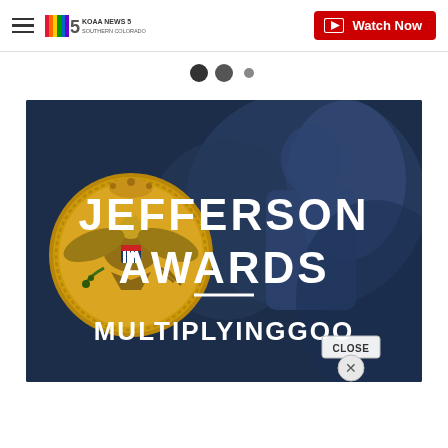KOAA News 5 Southern Colorado | Watch Now
[Figure (screenshot): Carousel navigation dots: two large filled circles and one smaller filled circle, indicating a slideshow position indicator]
[Figure (photo): Jefferson Awards promotional banner with dark blue background, gold Great Seal eagle medal on the left, large white bold text reading JEFFERSON AWARDS, a white horizontal divider line, and text reading MULTIPLYING GO... (cropped). People visible in background. A CLOSE button overlay appears in bottom right corner.]